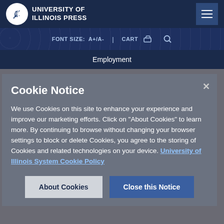[Figure (logo): University of Illinois Press logo with circular emblem and text]
FONT SIZE: A+/A- | CART
Employment
Cookie Notice
We use Cookies on this site to enhance your experience and improve our marketing efforts. Click on "About Cookies" to learn more. By continuing to browse without changing your browser settings to block or delete Cookies, you agree to the storing of Cookies and related technologies on your device. University of Illinois System Cookie Policy